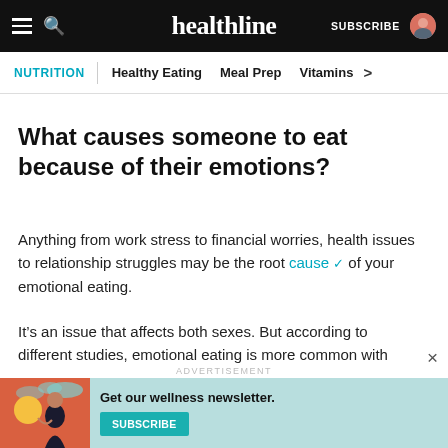healthline — SUBSCRIBE
NUTRITION | Healthy Eating  Meal Prep  Vitamins >
What causes someone to eat because of their emotions?
Anything from work stress to financial worries, health issues to relationship struggles may be the root cause ✔ of your emotional eating.
It's an issue that affects both sexes. But according to different studies, emotional eating is more common with women than with men.